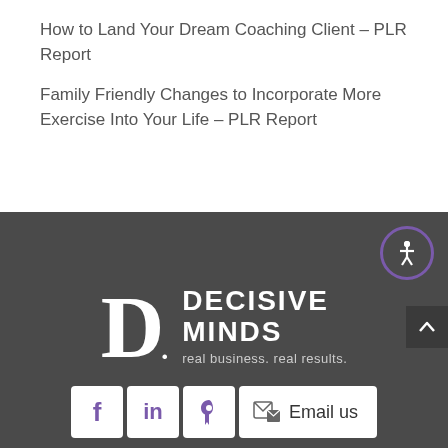How to Land Your Dream Coaching Client – PLR Report
Family Friendly Changes to Incorporate More Exercise Into Your Life – PLR Report
[Figure (logo): Decisive Minds logo with large white D letter, dot, and text reading DECISIVE MINDS real business. real results. on dark gray background, with accessibility icon button, scroll-up button, and social media icons (Facebook, LinkedIn, Pinterest, Email us) at the bottom]